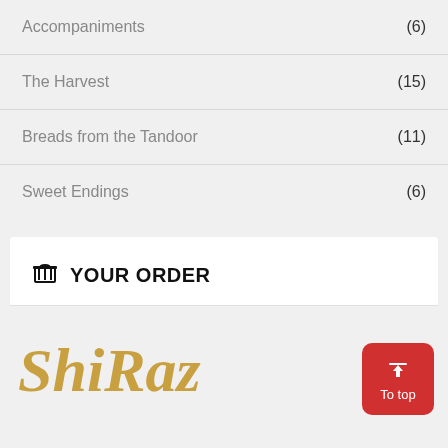Accompaniments (6)
The Harvest (15)
Breads from the Tandoor (11)
Sweet Endings (6)
YOUR ORDER
[Figure (logo): ShiRaz restaurant logo in gold italic script font]